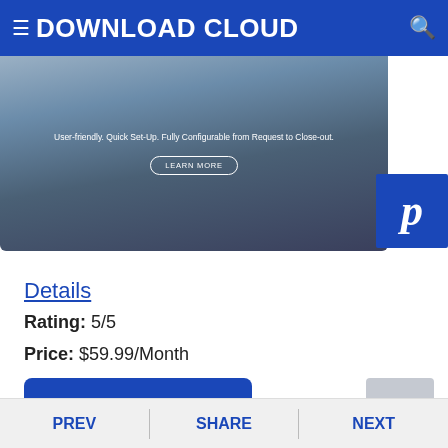DOWNLOAD CLOUD
[Figure (screenshot): Website hero banner showing 'User-friendly. Quick Set-Up. Fully Configurable from Request to Close-out.' text with a 'LEARN MORE' button, overlaid on a blue/dark background image. A Pinterest icon appears in the bottom-right corner of the image area.]
Details
Rating: 5/5
Price: $59.99/Month
DOWNLOAD
PREV   SHARE   NEXT